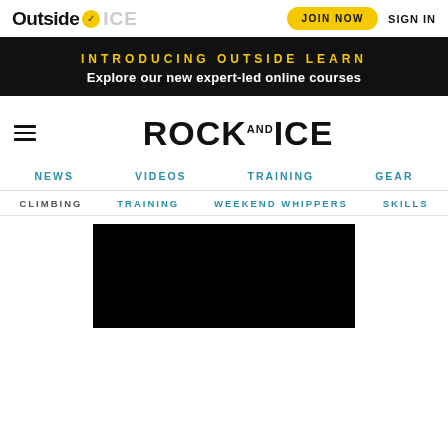Outside [logo] ROCK·ICE [faded] | JOIN NOW | SIGN IN
INTRODUCING OUTSIDE LEARN
Explore our new expert-led online courses
ROCK AND ICE
NEWS
VIDEOS
TRAINING
GEAR
CLIMBING
TRAINING
WEEKEND WHIPPERS
SKILLS
[Figure (screenshot): Black video thumbnail area]